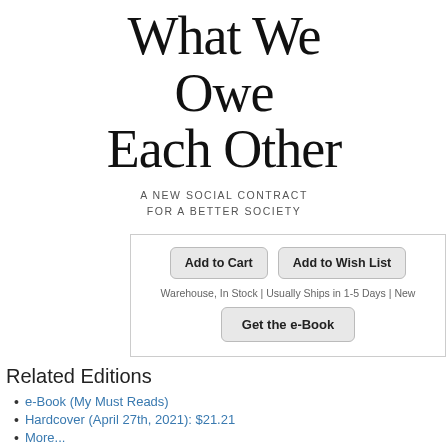What We Owe Each Other
A NEW SOCIAL CONTRACT FOR A BETTER SOCIETY
Add to Cart | Add to Wish List
Warehouse, In Stock | Usually Ships in 1-5 Days | New
Get the e-Book
Related Editions
e-Book (My Must Reads)
Hardcover (April 27th, 2021): $21.21
More...